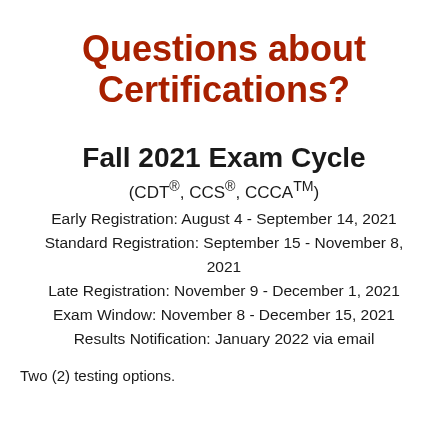Questions about Certifications?
Fall 2021 Exam Cycle
(CDT®, CCS®, CCCA™)
Early Registration: August 4 - September 14, 2021
Standard Registration: September 15 - November 8, 2021
Late Registration: November 9 - December 1, 2021
Exam Window: November 8 - December 15, 2021
Results Notification: January 2022 via email
Two (2) testing options.